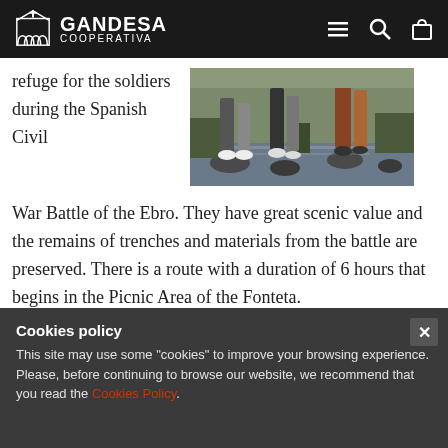Gandesa Cooperativa
refuge for the soldiers during the Spanish Civil War Battle of the Ebro. They have great scenic value and the remains of trenches and materials from the battle are preserved. There is a route with a duration of 6 hours that begins in the Picnic Area of the Fonteta.
[Figure (photo): People stepping across rocks in a stream or river, outdoors in a natural setting.]
Cookies policy
This site may use some "cookies" to improve your browsing experience. Please, before continuing to browse our website, we recommend that you read the Cookies Policy.